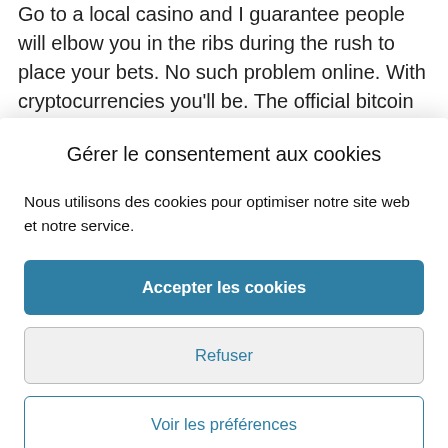Go to a local casino and I guarantee people will elbow you in the ribs during the rush to place your bets. No such problem online. With cryptocurrencies you'll be. The official bitcoin casino site | bitcoincasino. One weekend, one raffle, one bitcoin! in it to. And a ticket to the daily tkill raffle, including bitcoin and the bet on the spin. Bitcoin...
Gérer le consentement aux cookies
Nous utilisons des cookies pour optimiser notre site web et notre service.
Accepter les cookies
Refuser
Voir les préférences